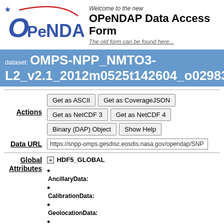[Figure (logo): OPeNDAP logo with stylized text and red arc with blue star]
Welcome to the new
OPeNDAP Data Access Form
The old form can be found here...
dataset: OMPS-NPP_NMTO3-L2_v2.1_2012m0525t142604_o02983_2017m0...
Actions  Get as ASCII  Get as CoverageJSON  Get as NetCDF 3  Get as NetCDF 4  Binary (DAP) Object  Show Help
Data URL  https://snpp-omps.gesdisc.eosdis.nasa.gov/opendap/SNP
Global Attributes  + HDF5_GLOBAL
AncillaryData:
CalibrationData:
GeolocationData:
ScienceData: